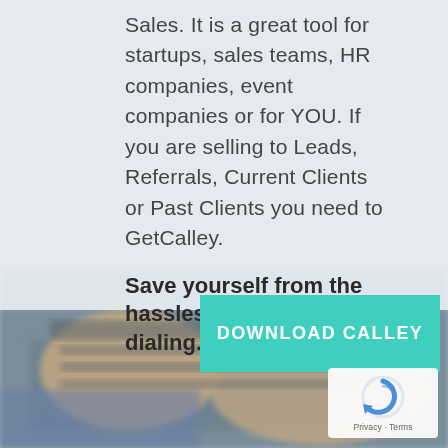Sales. It is a great tool for startups, sales teams, HR companies, event companies or for YOU. If you are selling to Leads, Referrals, Current Clients or Past Clients you need to GetCalley.
Save yourself from the hassles of manual dialing.
[Figure (other): Teal/green download button with white bold text reading DOWNLOAD CALLEY, overlaid on a blurred photo of hands typing on a laptop keyboard]
[Figure (other): reCAPTCHA logo badge with Privacy and Terms links at bottom right corner]